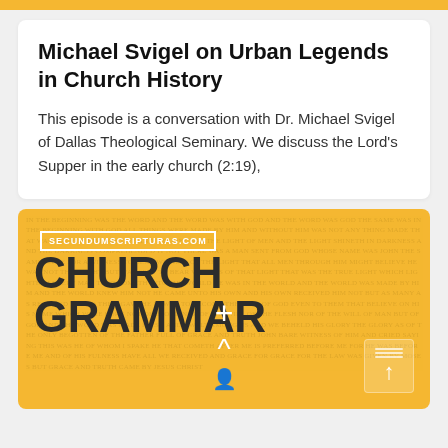Michael Svigel on Urban Legends in Church History
This episode is a conversation with Dr. Michael Svigel of Dallas Theological Seminary. We discuss the Lord’s Supper in the early church (2:19),
[Figure (logo): Church Grammar podcast logo on orange/yellow background. Shows URL badge 'SECUNDUMSCRIPTURAS.COM', large bold text 'CHURCH GRAMMAR', watermark scripture text in background, white cross/plus icon, white chevron icon, white person icon, and share button in bottom right corner.]